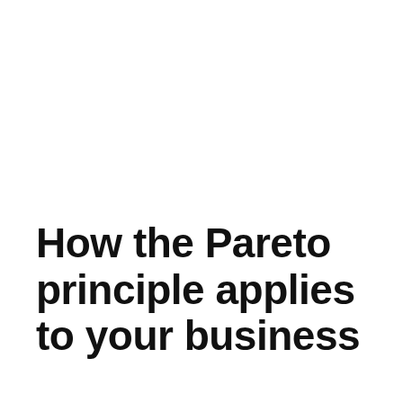How the Pareto principle applies to your business